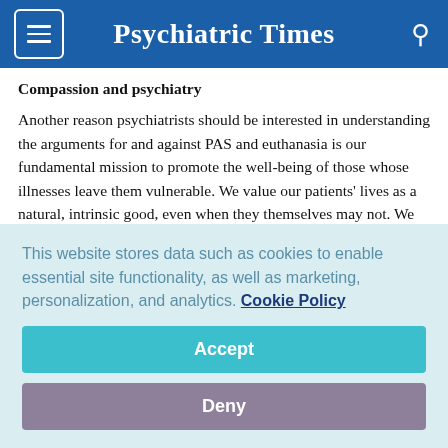Psychiatric Times
Compassion and psychiatry
Another reason psychiatrists should be interested in understanding the arguments for and against PAS and euthanasia is our fundamental mission to promote the well-being of those whose illnesses leave them vulnerable. We value our patients' lives as a natural, intrinsic good, even when they themselves may not. We try-sometimes with great effort to provide therapeutic optimism, rather
This website stores data such as cookies to enable essential site functionality, as well as marketing, personalization, and analytics. Cookie Policy
Accept
Deny